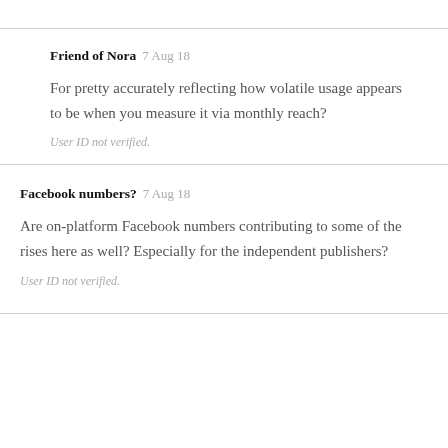Friend of Nora  7 Aug 18
For pretty accurately reflecting how volatile usage appears to be when you measure it via monthly reach?
User ID not verified.
Facebook numbers?  7 Aug 18
Are on-platform Facebook numbers contributing to some of the rises here as well? Especially for the independent publishers?
User ID not verified.